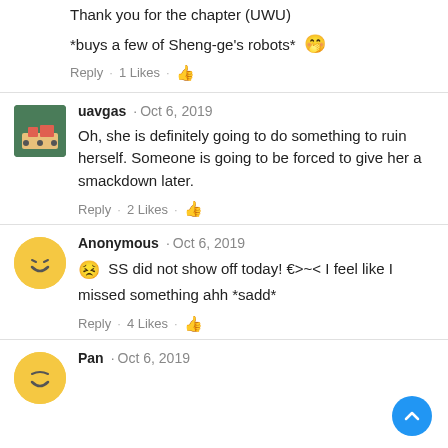Thank you for the chapter (UWU)
*buys a few of Sheng-ge's robots* 🤭
Reply · 1 Likes · 👍
uavgas · Oct 6, 2019
Oh, she is definitely going to do something to ruin herself. Someone is going to be forced to give her a smackdown later.
Reply · 2 Likes · 👍
Anonymous · Oct 6, 2019
😣 SS did not show off today! €>~< I feel like I missed something ahh *sadd*
Reply · 4 Likes · 👍
Pan · Oct 6, 2019